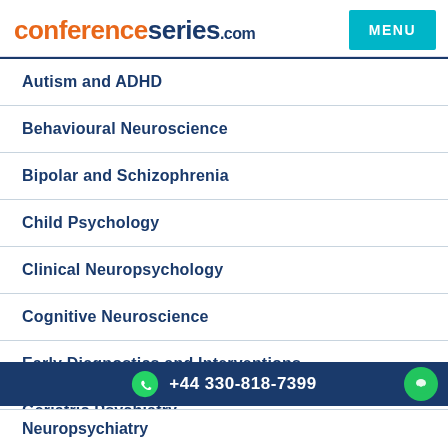conferenceseries.com | MENU
Autism and ADHD
Behavioural Neuroscience
Bipolar and Schizophrenia
Child Psychology
Clinical Neuropsychology
Cognitive Neuroscience
Early Diagnostics and Interventions
Geriatric Psychiatry
Mental Illness and Awareness
+44 330-818-7399
Neuropsychiatry